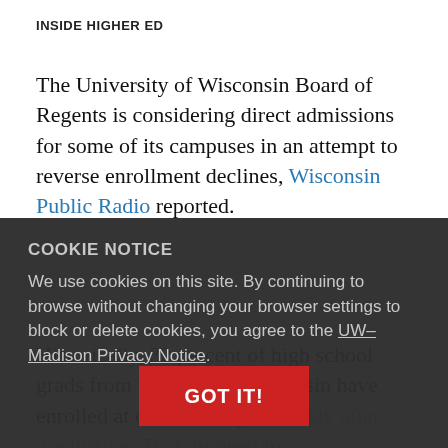INSIDE HIGHER ED
The University of Wisconsin Board of Regents is considering direct admissions for some of its campuses in an attempt to reverse enrollment declines, Wisconsin Public Radio reported.
Historically, 32 percent of high school grads from the state of Wisconsin have enrolled at one of the system's
COOKIE NOTICE
We use cookies on this site. By continuing to browse without changing your browser settings to block or delete cookies, you agree to the UW–Madison Privacy Notice.
GOT IT!